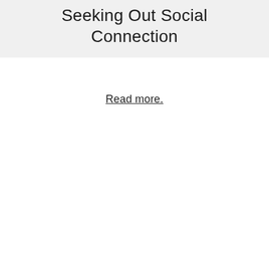Seeking Out Social Connection
Read more.